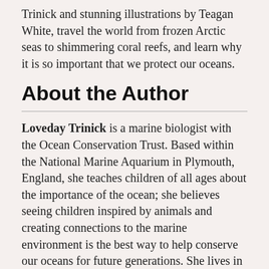Trinick and stunning illustrations by Teagan White, travel the world from frozen Arctic seas to shimmering coral reefs, and learn why it is so important that we protect our oceans.
About the Author
Loveday Trinick is a marine biologist with the Ocean Conservation Trust. Based within the National Marine Aquarium in Plymouth, England, she teaches children of all ages about the importance of the ocean; she believes seeing children inspired by animals and creating connections to the marine environment is the best way to help conserve our oceans for future generations. She lives in England.
Teagan White is an artist and illustrator who